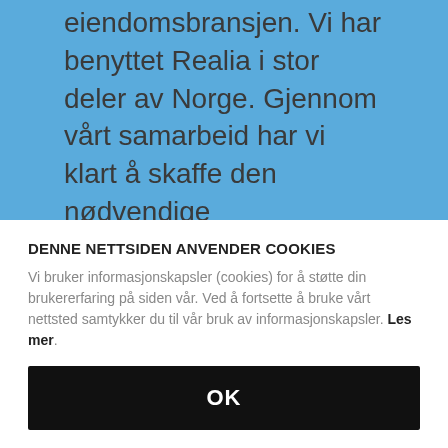eiendomsbransjen. Vi har benyttet Realia i stor deler av Norge. Gjennom vårt samarbeid har vi klart å skaffe den nødvendige konkurransen i markedet, og har ved Realias hjelp oppnådd meget
DENNE NETTSIDEN ANVENDER COOKIES
Vi bruker informasjonskapsler (cookies) for å støtte din brukererfaring på siden vår. Ved å fortsette å bruke vårt nettsted samtykker du til vår bruk av informasjonskapsler. Les mer.
OK